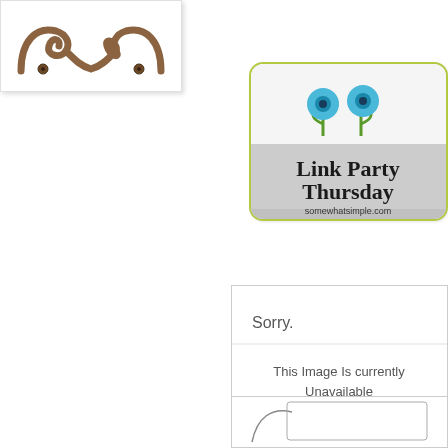[Figure (illustration): Decorative brown curly bracket or mustache-like ornamental design on a white background, framed with a light border shadow]
[Figure (illustration): Link Party Thursday badge from somewhatsimple.com featuring two blue cartoon flowers on green stems, with text 'Link Party Thursday somewhatsimple.com' on a gray and white background with a green rounded rectangular border]
[Figure (screenshot): Photobucket placeholder image showing 'Sorry. This Image Is Currently Unavailable' with the Photobucket camera logo at the bottom on a gray bar]
[Figure (illustration): Partial view of another decorative illustration at the bottom right corner, partially cut off]